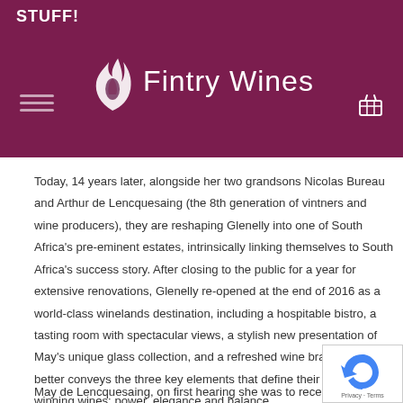STUFF!
[Figure (logo): Fintry Wines logo with flame icon on dark maroon/burgundy background]
Today, 14 years later, alongside her two grandsons Nicolas Bureau and Arthur de Lencquesaing (the 8th generation of vintners and wine producers), they are reshaping Glenelly into one of South Africa's pre-eminent estates, intrinsically linking themselves to South Africa's success story. After closing to the public for a year for extensive renovations, Glenelly re-opened at the end of 2016 as a world-class winelands destination, including a hospitable bistro, a tasting room with spectacular views, a stylish new presentation of May's unique glass collection, and a refreshed wine brand that better conveys the three key elements that define their award-winning wines: power, elegance and balance.
May de Lencquesaing, on first hearing she was to receive this